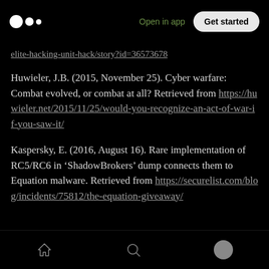Medium logo | Open in app | Get started
elite-hacking-unit-hack/story?id=36573678
Huwieler, J.B. (2015, November 25). Cyber warfare: Combat evolved, or combat at all? Retrieved from https://huwieler.net/2015/11/25/would-you-recognize-an-act-of-war-if-you-saw-it/
Kaspersky, E. (2016, August 16). Rare implementation of RC5/RC6 in ‘ShadowBrokers’ dump connects them to Equation malware. Retrieved from https://securelist.com/blog/incidents/75812/the-equation-giveaway/
Home | Search | Profile